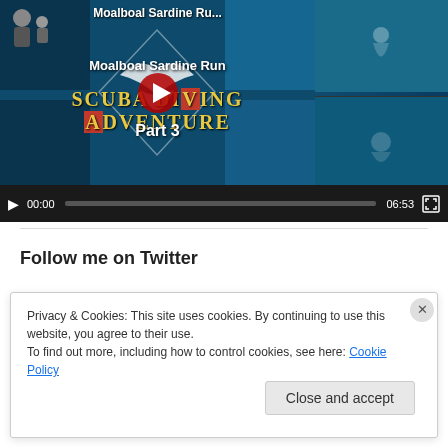[Figure (screenshot): Embedded video player showing 'Moalboal Sardine Run' video thumbnail with Scuba Diving Adventure Part 3 title, play button, and controls showing 00:00 / 06:53]
Follow me on Twitter
Privacy & Cookies: This site uses cookies. By continuing to use this website, you agree to their use.
To find out more, including how to control cookies, see here: Cookie Policy
Close and accept